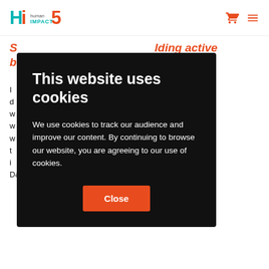Hi5 Human Impact logo and navigation icons
...lding active b...
...nt, bullying, or unease, this ...connect to the ...ou from doing ...e you with the ...ner a direct or ...ntion is key to D&I and to creating respectful workplaces.
This website uses cookies
We use cookies to track our audience and improve our content. By continuing to browse our website, you are agreeing to our use of cookies.
Close